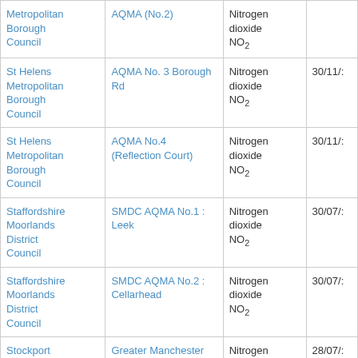| Metropolitan Borough Council | AQMA (No.2) | Nitrogen dioxide NO2 |  |
| St Helens Metropolitan Borough Council | AQMA No. 3 Borough Rd | Nitrogen dioxide NO2 | 30/11/: |
| St Helens Metropolitan Borough Council | AQMA No.4 (Reflection Court) | Nitrogen dioxide NO2 | 30/11/: |
| Staffordshire Moorlands District Council | SMDC AQMA No.1 : Leek | Nitrogen dioxide NO2 | 30/07/: |
| Staffordshire Moorlands District Council | SMDC AQMA No.2 : Cellarhead | Nitrogen dioxide NO2 | 30/07/: |
| Stockport Metropolitan Borough Council | Greater Manchester Combined Authority AQMA | Nitrogen dioxide NO2 | 28/07/: |